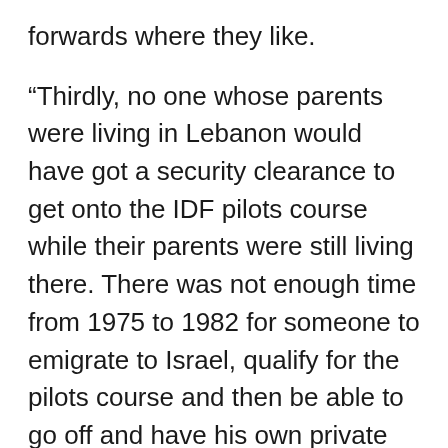forwards where they like.
“Thirdly, no one whose parents were living in Lebanon would have got a security clearance to get onto the IDF pilots course while their parents were still living there. There was not enough time from 1975 to 1982 for someone to emigrate to Israel, qualify for the pilots course and then be able to go off and have his own private war.
“If his defense is that it was a story current in the village, it had no bearing on the main story and should have been cut out. Unless the role of the Independent is to continue to spread